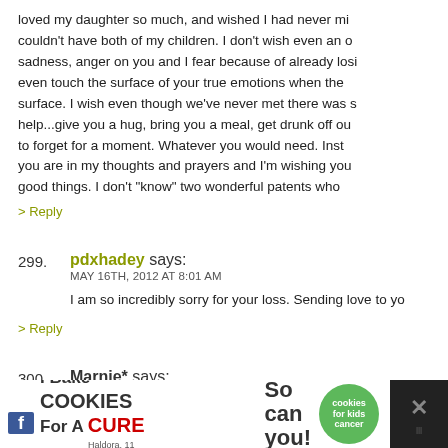loved my daughter so much, and wished I had never mi couldn't have both of my children. I don't wish even an o sadness, anger on you and I fear because of already losi even touch the surface of your true emotions when the surface. I wish even though we've never met there was s help...give you a hug, bring you a meal, get drunk off ou to forget for a moment. Whatever you would need. Inst you are in my thoughts and prayers and I'm wishing you good things. I don't "know" two wonderful patents who
> Reply
299. pdxhadey says:
MAY 16TH, 2012 AT 8:01 AM
I am so incredibly sorry for your loss. Sending love to yo
> Reply
300. Marnie* says:
MAY 16TH, 2012 AT 8:01 AM
[Figure (infographic): Advertisement banner: 'I Bake COOKIES For A CURE' with a child cancer survivor named Haldora, 11, and a green 'cookies for kids cancer' badge. Text reads 'So can you!' with a dark background and close buttons.]